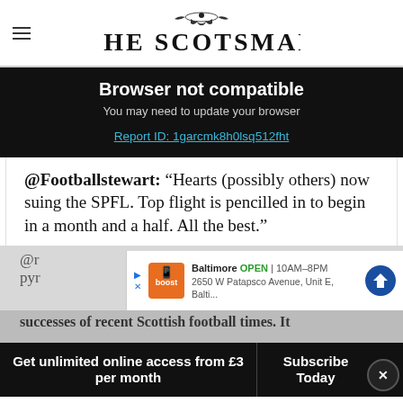[Figure (logo): The Scotsman newspaper masthead with decorative ornament above serif title text]
Browser not compatible
You may need to update your browser
Report ID: 1garcmk8h0lsq512fht
@Footballstewart: “Hearts (possibly others) now suing the SPFL. Top flight is pencilled in to begin in a month and a half. All the best.”
[Figure (screenshot): Advertisement for Boost Mobile Baltimore location, showing store logo, open hours 10AM-8PM, address 2650 W Patapsco Avenue, Unit E, Balti... with navigation arrow icon]
successes of recent Scottish football times. It
Get unlimited online access from £3 per month
Subscribe Today